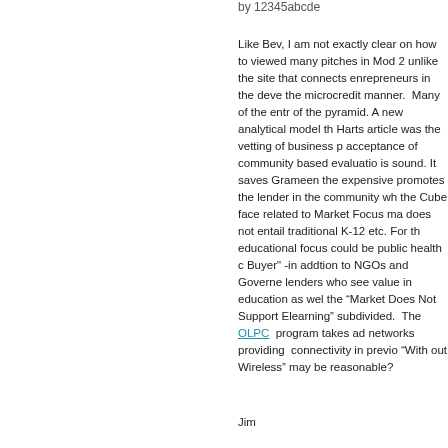by 12345abcde
Like Bev, I am not exactly clear on how to viewed many pitches in Mod 2 unlike the site that connects enrepreneurs in the deve the microcredit manner.  Many of the entr of the pyramid. A new analytical model th Harts article was the vetting of business p acceptance of community based evaluatio is sound. It saves Grameen the expensive promotes the lender in the community wh the Cube face related to Market Focus ma does not entail traditional K-12 etc. For th educational focus could be public health c Buyer" -in addtion to NGOs and Governe lenders who see value in education as wel the “Market Does Not Support Elearning” subdivided.  The OLPC  program takes ad networks providing  connectivity in previo “With out Wireless” may be reasonable?
Jim